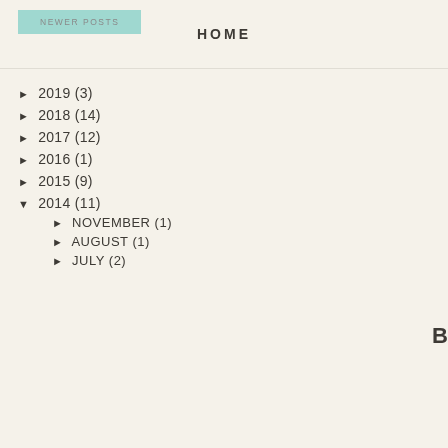NEWER POSTS  |  HOME
► 2019 (3)
► 2018 (14)
► 2017 (12)
► 2016 (1)
► 2015 (9)
▼ 2014 (11)
► NOVEMBER (1)
► AUGUST (1)
► JULY (2)